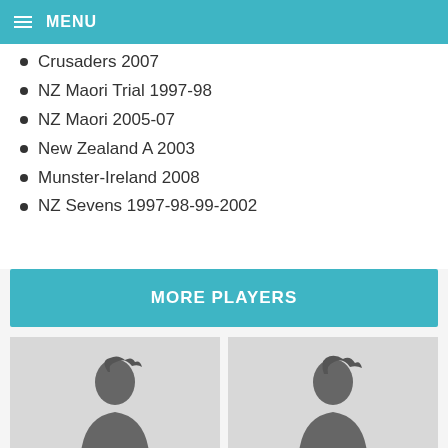MENU
Crusaders 2007
NZ Maori Trial 1997-98
NZ Maori 2005-07
New Zealand A 2003
Munster-Ireland 2008
NZ Sevens 1997-98-99-2002
MORE PLAYERS
[Figure (photo): Player silhouette placeholder image left]
[Figure (photo): Player silhouette placeholder image right]